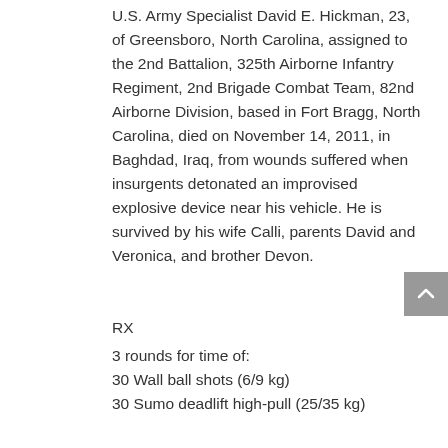U.S. Army Specialist David E. Hickman, 23, of Greensboro, North Carolina, assigned to the 2nd Battalion, 325th Airborne Infantry Regiment, 2nd Brigade Combat Team, 82nd Airborne Division, based in Fort Bragg, North Carolina, died on November 14, 2011, in Baghdad, Iraq, from wounds suffered when insurgents detonated an improvised explosive device near his vehicle. He is survived by his wife Calli, parents David and Veronica, and brother Devon.
RX
3 rounds for time of:
30 Wall ball shots (6/9 kg)
30 Sumo deadlift high-pull (25/35 kg)